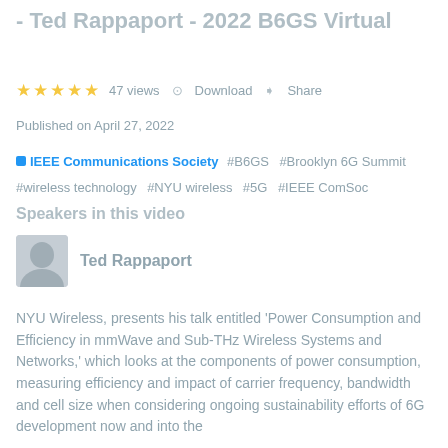- Ted Rappaport - 2022 B6GS Virtual
★★★★★  47 views  ⊙  Download  ➦  Share
Published on April 27, 2022
■ IEEE Communications Society  #B6GS  #Brooklyn 6G Summit  #wireless technology  #NYU wireless  #5G  #IEEE ComSoc
Speakers in this video
Ted Rappaport
NYU Wireless, presents his talk entitled 'Power Consumption and Efficiency in mmWave and Sub-THz Wireless Systems and Networks,' which looks at the components of power consumption, measuring efficiency and impact of carrier frequency, bandwidth and cell size when considering ongoing sustainability efforts of 6G development now and into the